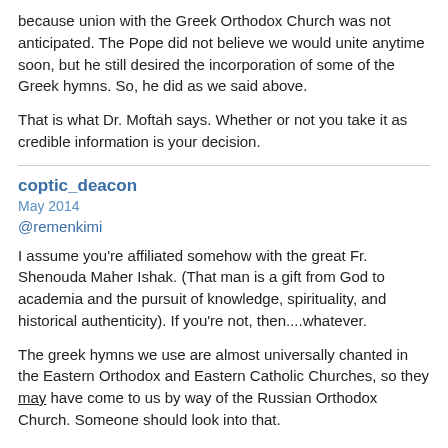because union with the Greek Orthodox Church was not anticipated. The Pope did not believe we would unite anytime soon, but he still desired the incorporation of some of the Greek hymns. So, he did as we said above.
That is what Dr. Moftah says. Whether or not you take it as credible information is your decision.
coptic_deacon
May 2014
@remenkimi
I assume you're affiliated somehow with the great Fr. Shenouda Maher Ishak. (That man is a gift from God to academia and the pursuit of knowledge, spirituality, and historical authenticity). If you're not, then....whatever.
The greek hymns we use are almost universally chanted in the Eastern Orthodox and Eastern Catholic Churches, so they may have come to us by way of the Russian Orthodox Church. Someone should look into that.
Furthermore, @RamezM , what was the order of the liturgy prior to all these changes, and why was it changed?